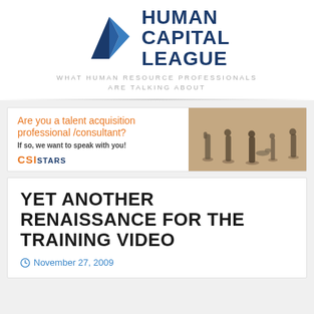[Figure (logo): Human Capital League logo with geometric diamond/kite shape in dark navy and teal blue, beside bold text 'HUMAN CAPITAL LEAGUE']
WHAT HUMAN RESOURCE PROFESSIONALS ARE TALKING ABOUT
[Figure (infographic): CSI Stars advertisement banner: 'Are you a talent acquisition professional /consultant? If so, we want to speak with you!' with aerial photo of people walking casting shadows]
YET ANOTHER RENAISSANCE FOR THE TRAINING VIDEO
November 27, 2009